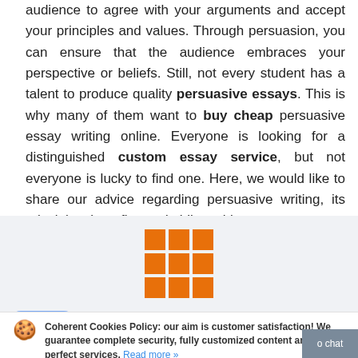audience to agree with your arguments and accept your principles and values. Through persuasion, you can ensure that the audience embraces your perspective or beliefs. Still, not every student has a talent to produce quality persuasive essays. This is why many of them want to buy cheap persuasive essay writing online. Everyone is looking for a distinguished custom essay service, but not everyone is lucky to find one. Here, we would like to share our advice regarding persuasive writing, its principles, benefits, and philosophies.
[Figure (logo): Orange 3x3 grid icon logo]
[Figure (infographic): Currency selector bar showing USD (active/highlighted), CAD, EUR, GBP, AUD tabs]
Coherent Cookies Policy: our aim is customer satisfaction! We guarantee complete security, fully customized content and perfect services. Read more »
It's Ok